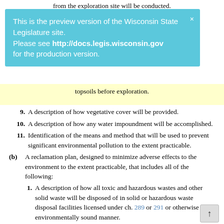from the exploration site will be conducted.
This is the preview version of the Wisconsin State Legislature site. Please see http://docs.legis.wisconsin.gov for the production version.
topsoils before exploration.
9. A description of how vegetative cover will be provided.
10. A description of how any water impoundment will be accomplished.
11. Identification of the means and method that will be used to prevent significant environmental pollution to the extent practicable.
(b) A reclamation plan, designed to minimize adverse effects to the environment to the extent practicable, that includes all of the following:
1. A description of how all toxic and hazardous wastes and other solid waste will be disposed of in solid or hazardous waste disposal facilities licensed under ch. 289 or 291 or otherwise in an environmentally sound manner.
2. A description of how topsoil will be preserved for purposes of future use in reclamation.
3. A description of how revegetation will be conducted to stabilize disturbed soils and prevent air and water...